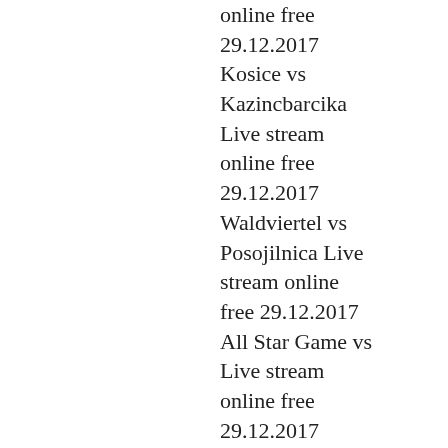online free 29.12.2017 Kosice vs Kazincbarcika Live stream online free 29.12.2017 Waldviertel vs Posojilnica Live stream online free 29.12.2017 All Star Game vs Live stream online free 29.12.2017 Lausanne vs Winterthur Live stream online free 29.12.2017 Zadar vs Skopje Live stream online free 29.12.2017 Barcelona II vs Valladolid Live stream online free 29.12.2017 2017 World